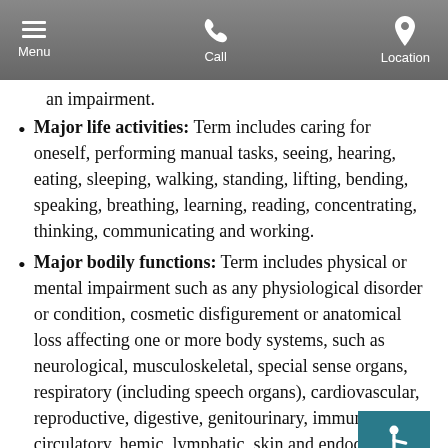Menu  Call  Location
an impairment.
Major life activities: Term includes caring for oneself, performing manual tasks, seeing, hearing, eating, sleeping, walking, standing, lifting, bending, speaking, breathing, learning, reading, concentrating, thinking, communicating and working.
Major bodily functions: Term includes physical or mental impairment such as any physiological disorder or condition, cosmetic disfigurement or anatomical loss affecting one or more body systems, such as neurological, musculoskeletal, special sense organs, respiratory (including speech organs), cardiovascular, reproductive, digestive, genitourinary, immune, circulatory, hemic, lymphatic, skin and endocrine. Also